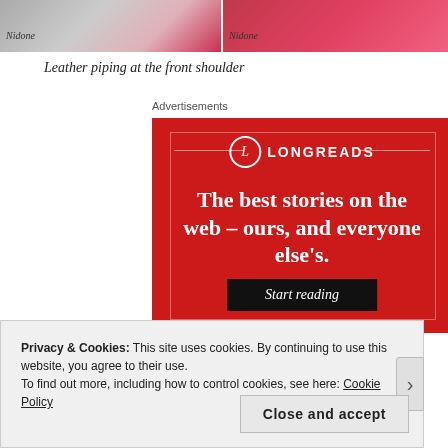[Figure (photo): Two photos side by side showing red/pink garment with leather piping at the front shoulder, with 'Nidone' watermark on each]
Leather piping at the front shoulder
Advertisements
[Figure (other): Longreads advertisement banner with red background, logo circle with L, text: 'The best stories on the web – ours, and everyone else's.' with a 'Start reading' button]
Privacy & Cookies: This site uses cookies. By continuing to use this website, you agree to their use.
To find out more, including how to control cookies, see here: Cookie Policy
Close and accept